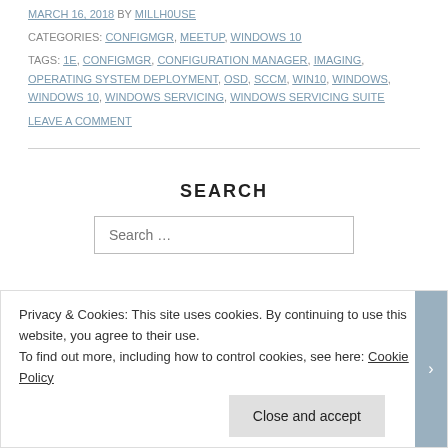MARCH 16, 2018 BY MILLH0USE
CATEGORIES: CONFIGMGR, MEETUP, WINDOWS 10
TAGS: 1E, CONFIGMGR, CONFIGURATION MANAGER, IMAGING, OPERATING SYSTEM DEPLOYMENT, OSD, SCCM, WIN10, WINDOWS, WINDOWS 10, WINDOWS SERVICING, WINDOWS SERVICING SUITE
LEAVE A COMMENT
SEARCH
Search …
Privacy & Cookies: This site uses cookies. By continuing to use this website, you agree to their use.
To find out more, including how to control cookies, see here: Cookie Policy
Close and accept